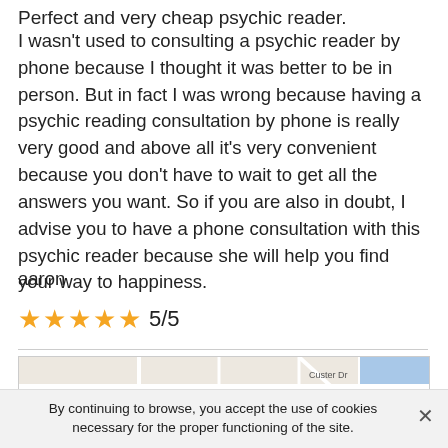Perfect and very cheap psychic reader.
I wasn't used to consulting a psychic reader by phone because I thought it was better to be in person. But in fact I was wrong because having a psychic reading consultation by phone is really very good and above all it's very convenient because you don't have to wait to get all the answers you want. So if you are also in doubt, I advise you to have a phone consultation with this psychic reader because she will help you find your way to happiness.
aaron
[Figure (infographic): Five gold stars with rating 5/5]
[Figure (map): Google map showing Meadows East and Rigden Farm neighborhoods with Custer Dr label]
By continuing to browse, you accept the use of cookies necessary for the proper functioning of the site.